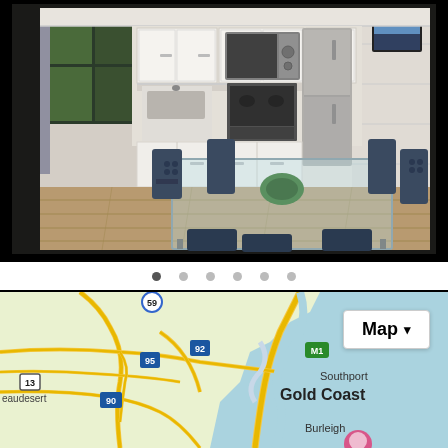[Figure (photo): Interior photo of a modern kitchen with white cabinets, stainless steel appliances including a refrigerator, microwave and oven, wooden laminate floor, and a glass dining table with blue chairs for 6 people in the foreground. A framed picture hangs on the white paneled wall on the right.]
[Figure (screenshot): Image carousel navigation dots — 6 dots total, the first one filled/active (dark), the rest grey/inactive.]
[Figure (map): Google Maps screenshot showing the Gold Coast area in Queensland, Australia. Visible labels include Southport, Gold Coast, Burleigh, and road numbers 95, 92, 90, 13, M1, 59. A map type toggle button labeled 'Map' with a dropdown arrow appears in the upper right. A location pin (pink/red) is visible near Burleigh.]